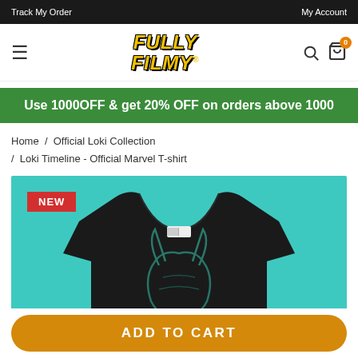Track My Order   My Account
[Figure (logo): Fully Filmy logo in yellow bold italic font with black outline, hamburger menu icon on the left, search and cart icons on the right with orange badge showing 0]
Use 1000OFF & get 20% OFF on orders above 1000
Home / Official Loki Collection / Loki Timeline - Official Marvel T-shirt
[Figure (photo): Product image of a black Marvel Loki Timeline T-shirt on a teal/turquoise background with a NEW badge in red at top-left. The shirt shows a Loki-themed graphic design.]
ADD TO CART